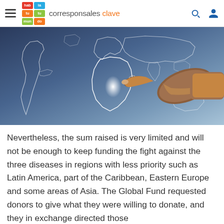habla tu mundo — corresponsales clave
[Figure (photo): A dark-themed world map illustration with a human hand pointing at Africa, with glowing white continent outlines on a dark blue-grey gradient background.]
Nevertheless, the sum raised is very limited and will not be enough to keep funding the fight against the three diseases in regions with less priority such as Latin America, part of the Caribbean, Eastern Europe and some areas of Asia. The Global Fund requested donors to give what they were willing to donate, and they in exchange directed those